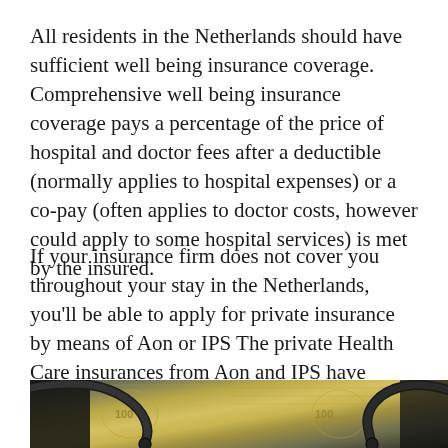All residents in the Netherlands should have sufficient well being insurance coverage. Comprehensive well being insurance coverage pays a percentage of the price of hospital and doctor fees after a deductible (normally applies to hospital expenses) or a co-pay (often applies to doctor costs, however could apply to some hospital services) is met by the insured.
If your insurance firm does not cover you throughout your stay in the Netherlands, you'll be able to apply for private insurance by means of Aon or IPS The private Health Care insurances from Aon and IPS have essentially the most extensive coverage and you'll pay month-to-month (approx.
[Figure (photo): Close-up photo of a stethoscope resting on top of US dollar bills, representing health insurance and medical costs.]